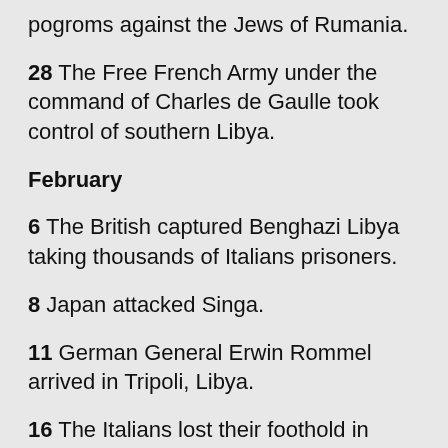pogroms against the Jews of Rumania.
28 The Free French Army under the command of Charles de Gaulle took control of southern Libya.
February
6 The British captured Benghazi Libya taking thousands of Italians prisoners.
8 Japan attacked Singa.
11 German General Erwin Rommel arrived in Tripoli, Libya.
16 The Italians lost their foothold in Sudan.
26 The British occupy Mogadishu, the capital of